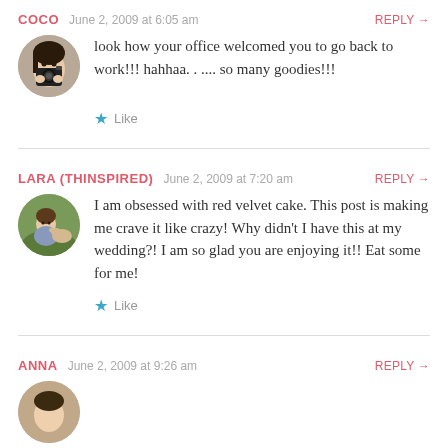COCO   June 2, 2009 at 6:05 am   REPLY →
look how your office welcomed you to go back to work!!! hahhaa. . .... so many goodies!!!
★ Like
LARA (THINSPIRED)   June 2, 2009 at 7:20 am   REPLY →
I am obsessed with red velvet cake. This post is making me crave it like crazy! Why didn't I have this at my wedding?! I am so glad you are enjoying it!! Eat some for me!
★ Like
ANNA   June 2, 2009 at 9:26 am   REPLY →